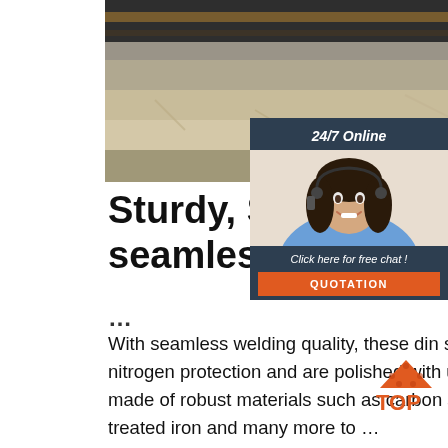[Figure (photo): Close-up photo of railway tracks with gravel/ballast, dark rail on top, viewed from side angle]
[Figure (infographic): 24/7 Online chat widget with woman wearing headset, dark blue/navy background, 'Click here for free chat!' text and orange QUOTATION button]
Sturdy, Stainless din 24 seamless alloy steel pip...
...
With seamless welding quality, these din seamless alloy steel pipe are annealed with nitrogen protection and are polished with utter professionalism. These products are made of robust materials such as carbon steel, stainless steel, galvanized surface-treated iron and many more to ...